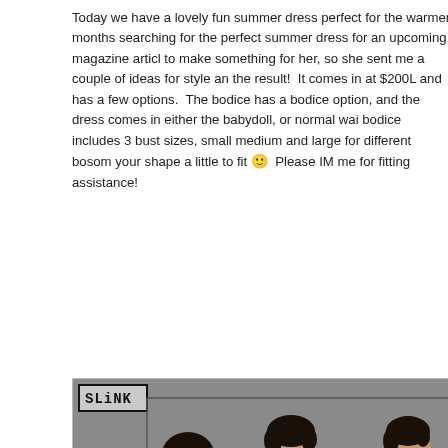Today we have a lovely fun summer dress perfect for the warmer months searching for the perfect summer dress for an upcoming magazine article to make something for her, so she sent me a couple of ideas for style and the result!  It comes in at $200L and has a few options.  The bodice has a bodice option, and the dress comes in either the babydoll, or normal waist. bodice includes 3 bust sizes, small medium and large for different bosom your shape a little to fit 🙂  Please IM me for fitting assistance!
[Figure (photo): 3D rendered fashion image showing three views (back, front, side) of a female avatar wearing a floral summer dress with pink sash/belt. The dress has a white background with red and yellow floral print. The avatar has short dark hair. A 'SLINK' logo appears in the top left corner of the image. Background is gray.]